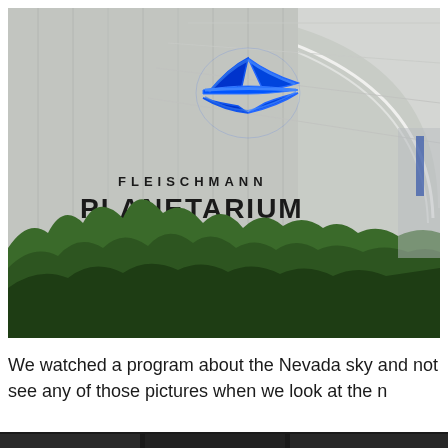[Figure (photo): Exterior photograph of Fleischmann Planetarium building showing the curved concrete dome/overhang, a blue neon bird/satellite logo, the text 'FLEISCHMANN PLANETARIUM' on the concrete wall, and green trees in the foreground.]
We watched a program about the Nevada sky and not see any of those pictures when we look at the n
[Figure (photo): Partial bottom strip of a dark photograph visible at the very bottom of the page.]